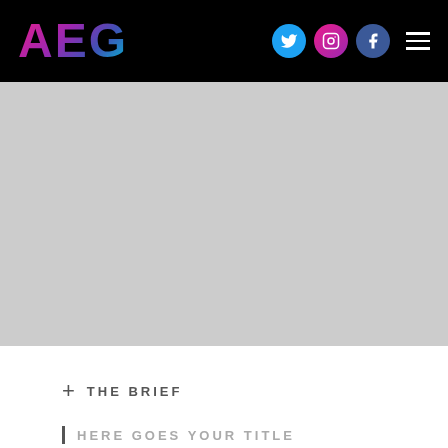AEG
[Figure (screenshot): AEG website navigation bar with logo on left and social media icons (Twitter, Instagram, Facebook) and hamburger menu on right, on black background]
[Figure (photo): Large grey placeholder hero image area]
+ THE BRIEF
| HERE GOES YOUR TITLE